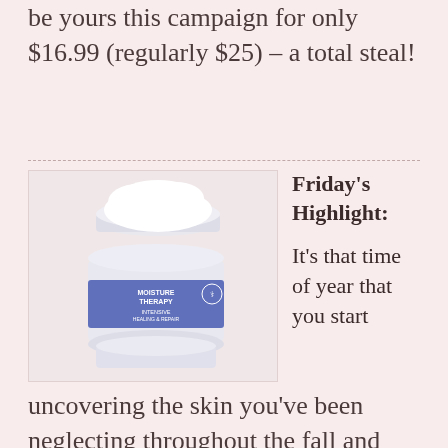1711 oz. Eau de Toilette Spray can be yours this campaign for only $16.99 (regularly $25) – a total steal!
[Figure (photo): Avon Moisture Therapy Intensive Healing & Repair Extra Strength Cream jar product photo, white jar with blue label, open lid]
Friday's Highlight:
It's that time of year that you start uncovering the skin you've been neglecting throughout the fall and winter.  Avon's Moisture Therapy Intensive Healing & Repair Extra Strength Cream will get your skin in